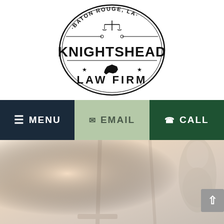[Figure (logo): Knightshead Law Firm logo — circular badge with 'BATON ROUGE, LA' at the top arc, scales of justice icon, large text 'KNIGHTSHEAD' and 'LAW FIRM' with stars and Louisiana state shape]
≡ MENU   ✉ EMAIL   ☎ CALL
[Figure (photo): Background hero image showing blurred scales of justice statue with cream/beige tones, Lady Justice figure visible on right side]